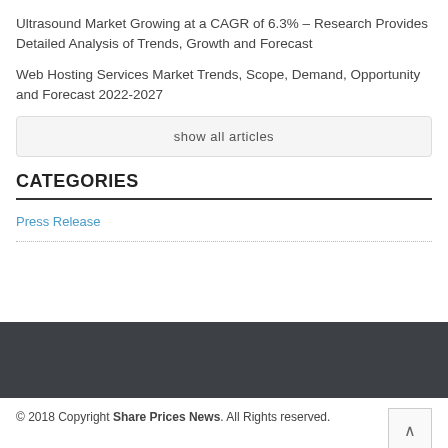Ultrasound Market Growing at a CAGR of 6.3% – Research Provides Detailed Analysis of Trends, Growth and Forecast
Web Hosting Services Market Trends, Scope, Demand, Opportunity and Forecast 2022-2027
show all articles
CATEGORIES
Press Release
© 2018 Copyright Share Prices News. All Rights reserved.